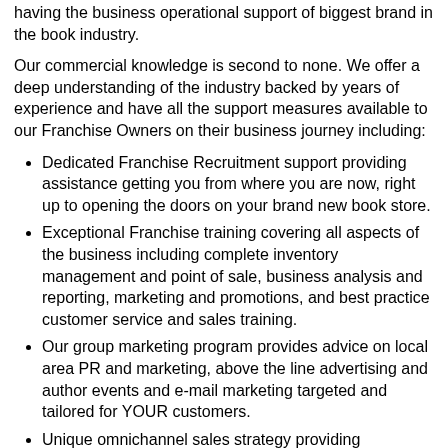having the business operational support of biggest brand in the book industry.
Our commercial knowledge is second to none. We offer a deep understanding of the industry backed by years of experience and have all the support measures available to our Franchise Owners on their business journey including:
Dedicated Franchise Recruitment support providing assistance getting you from where you are now, right up to opening the doors on your brand new book store.
Exceptional Franchise training covering all aspects of the business including complete inventory management and point of sale, business analysis and reporting, marketing and promotions, and best practice customer service and sales training.
Our group marketing program provides advice on local area PR and marketing, above the line advertising and author events and e-mail marketing targeted and tailored for YOUR customers.
Unique omnichannel sales strategy providing franchisees revenue through online “click and collect” and “deliver from store” sales processed completed through Dymocks website.